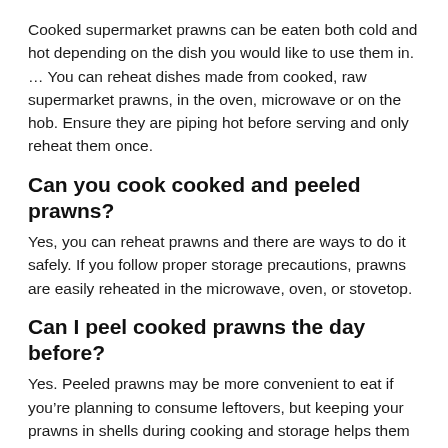Cooked supermarket prawns can be eaten both cold and hot depending on the dish you would like to use them in. … You can reheat dishes made from cooked, raw supermarket prawns, in the oven, microwave or on the hob. Ensure they are piping hot before serving and only reheat them once.
Can you cook cooked and peeled prawns?
Yes, you can reheat prawns and there are ways to do it safely. If you follow proper storage precautions, prawns are easily reheated in the microwave, oven, or stovetop.
Can I peel cooked prawns the day before?
Yes. Peeled prawns may be more convenient to eat if you're planning to consume leftovers, but keeping your prawns in shells during cooking and storage helps them retain their tasty juices, even when they're reheated.
How do you reheat peel and eat shrimp?